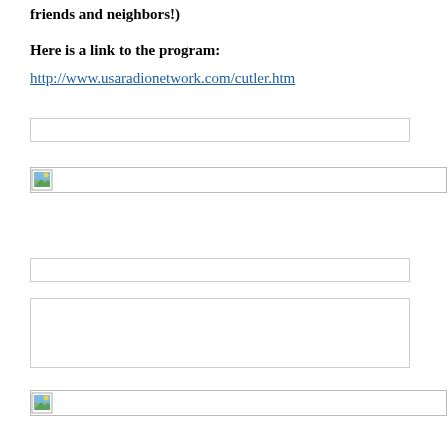friends and neighbors!)
Here is a link to the program:
http://www.usaradionetwork.com/cutler.htm
[Figure (other): Input form field (empty text box)]
[Figure (other): Broken image placeholder with image icon]
[Figure (other): Input form field (empty text box)]
[Figure (other): Textarea form field (empty multi-line text box)]
[Figure (other): Broken image placeholder with image icon]